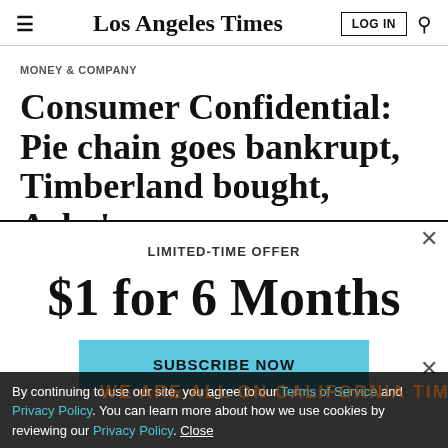Los Angeles Times
MONEY & COMPANY
Consumer Confidential: Pie chain goes bankrupt, Timberland bought, Arby's
LIMITED-TIME OFFER
$1 for 6 Months
SUBSCRIBE NOW
By continuing to use our site, you agree to our Terms of Service and Privacy Policy. You can learn more about how we use cookies by reviewing our Privacy Policy. Close